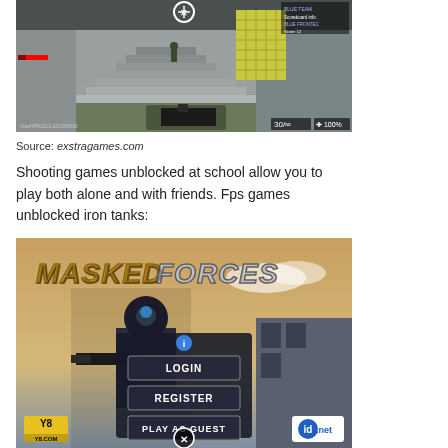[Figure (screenshot): First-person shooter game screenshot showing a staircase, a character in the distance, score UI elements, ammo counter showing 30/inf and health 100%, and an X close button at the top.]
Source: exstragames.com
Shooting games unblocked at school allow you to play both alone and with friends. Fps games unblocked iron tanks:
[Figure (screenshot): Masked Forces game title screen showing golden/chrome stylized text 'MASKED FORCES', a masked character, a login panel with LOGIN, REGISTER, and PLAY AS GUEST buttons, Y8.COM logo bottom left, id.net logo bottom right, and an X close button at the bottom.]